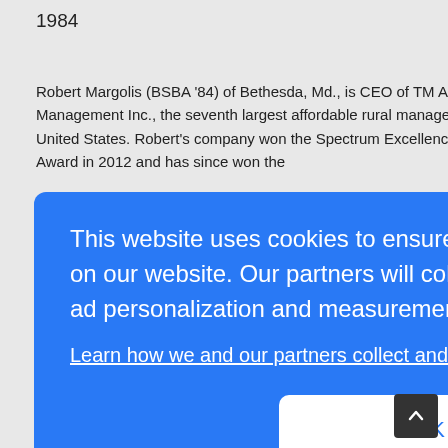1984
Robert Margolis (BSBA '84) of Bethesda, Md., is CEO of TM Associates Management Inc., the seventh largest affordable rural management company in the United States. Robert's company won the Spectrum Excellence in Management Award in 2012 and has since won the
[Figure (screenshot): Cookie consent overlay dialog on blue background with text: 'This website uses cookies to ensure you get the best experience on our website. Our partners will collect data and use cookies for ad personalization and measurement.' with a link 'Learn how we and our partners collect and use data.' and an OK button.]
to pursue the study of Central European